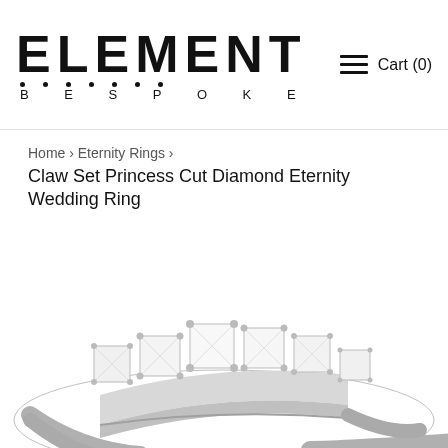ELEMENT BESPOKE — Cart (0)
Home › Eternity Rings ›
Claw Set Princess Cut Diamond Eternity Wedding Ring
[Figure (photo): A platinum eternity wedding ring set with princess cut diamonds in claw settings, photographed from the side-front angle showing multiple large square-cut diamonds across the top of the band.]